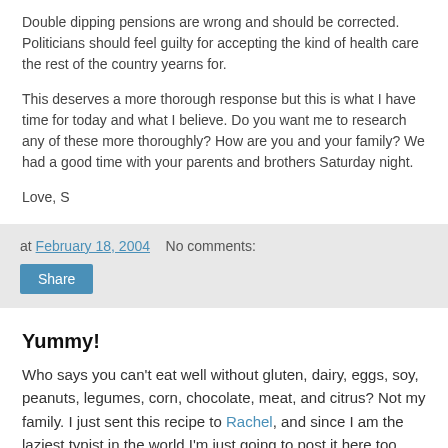Double dipping pensions are wrong and should be corrected. Politicians should feel guilty for accepting the kind of health care the rest of the country yearns for.
This deserves a more thorough response but this is what I have time for today and what I believe. Do you want me to research any of these more thoroughly? How are you and your family? We had a good time with your parents and brothers Saturday night.
Love, S
at February 18, 2004   No comments:
Share
Yummy!
Who says you can't eat well without gluten, dairy, eggs, soy, peanuts, legumes, corn, chocolate, meat, and citrus? Not my family. I just sent this recipe to Rachel, and since I am the laziest typist in the world I'm just going to post it here too. New Every Monday, Saturday, Storm days, and when I get to it.